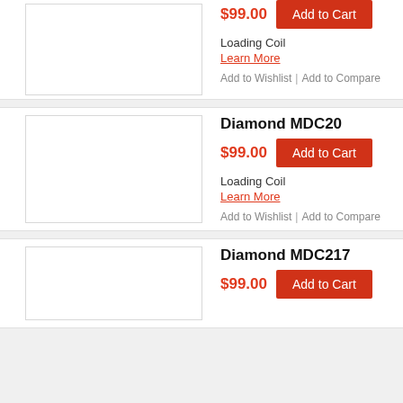$99.00
Add to Cart
Loading Coil
Learn More
Add to Wishlist | Add to Compare
Diamond MDC20
$99.00
Add to Cart
Loading Coil
Learn More
Add to Wishlist | Add to Compare
Diamond MDC217
$99.00
Add to Cart